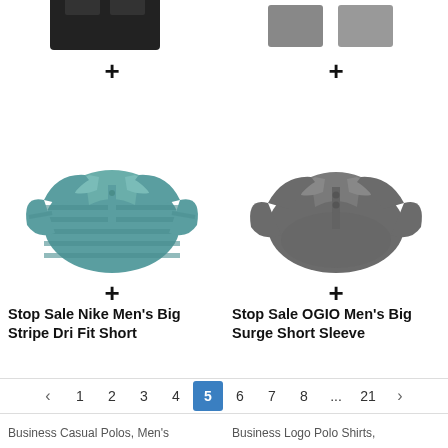[Figure (photo): Partial view of a black product (pants/shorts) at top left, cropped]
[Figure (photo): Partial view of gray product items at top right, cropped]
+
+
[Figure (photo): Teal/blue striped short sleeve polo shirt (Nike Men's Big Stripe Dri Fit Short)]
[Figure (photo): Gray short sleeve polo shirt (OGIO Men's Big Surge Short Sleeve)]
+
+
Stop Sale Nike Men's Big Stripe Dri Fit Short
Stop Sale OGIO Men's Big Surge Short Sleeve
Business Casual Polos, Men's
Business Logo Polo Shirts,
< 1 2 3 4 5 6 7 8 ... 21 >